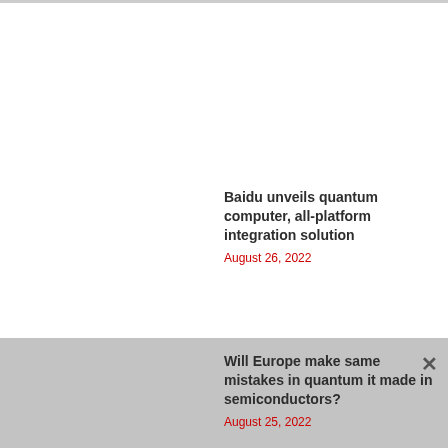Baidu unveils quantum computer, all-platform integration solution
August 26, 2022
Will Europe make same mistakes in quantum it made in semiconductors?
August 25, 2022